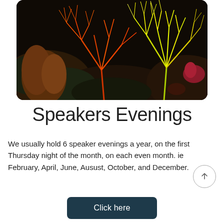[Figure (photo): Underwater photograph of vibrant orange and yellow branching coral fan against a dark rocky background with other marine organisms]
Speakers Evenings
We usually hold 6 speaker evenings a year, on the first Thursday night of the month, on each even month. ie February, April, June, Ausust, October, and December.
Click here